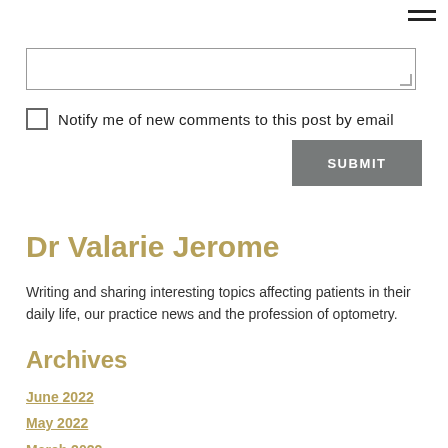[Figure (other): Hamburger menu icon with three horizontal lines in top-right corner]
[Figure (other): Text area input box with resize handle]
Notify me of new comments to this post by email
[Figure (other): SUBMIT button]
Dr Valarie Jerome
Writing and sharing interesting topics affecting patients in their daily life, our practice news and the profession of optometry.
Archives
June 2022
May 2022
March 2022